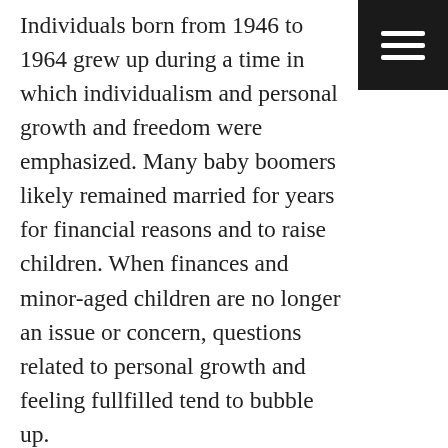Individuals born from 1946 to 1964 grew up during a time in which individualism and personal growth and freedom were emphasized. Many baby boomers likely remained married for years for financial reasons and to raise children. When finances and minor-aged children are no longer an issue or concern, questions related to personal growth and feeling fullfilled tend to bubble up.
[Figure (other): Black hamburger menu icon button in the top-right corner]
Baby boomers going through divorce often have more assets which can make the divorce process complex and contentious. Not only must these couples come to an agreement regarding the division property and personal belongings, but matters related to the division